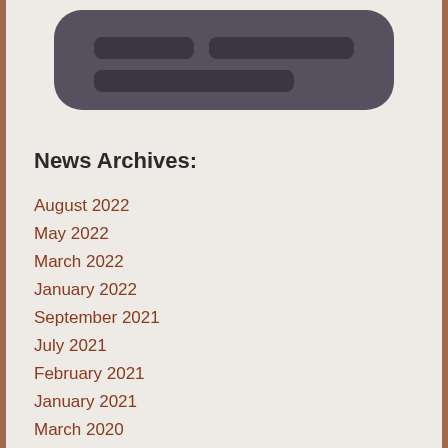[Figure (illustration): A dark gray speech bubble or chat icon with rounded rectangle shape visible at the top of the page]
News Archives:
August 2022
May 2022
March 2022
January 2022
September 2021
July 2021
February 2021
January 2021
March 2020
February 2020
January 2020
December 2019